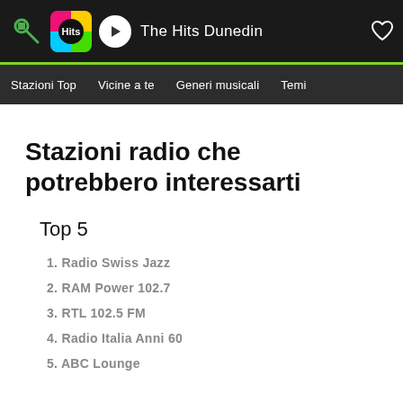The Hits Dunedin
Stazioni radio che potrebbero interessarti
Top 5
1. Radio Swiss Jazz
2. RAM Power 102.7
3. RTL 102.5 FM
4. Radio Italia Anni 60
5. ABC Lounge